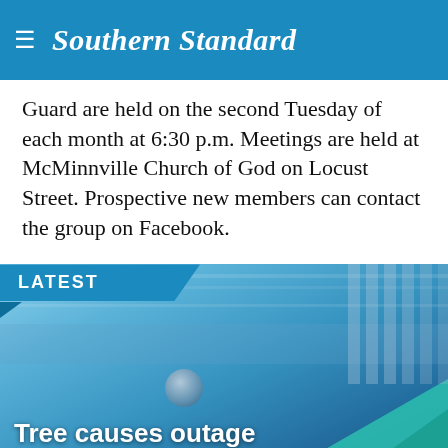Southern Standard
Guard are held on the second Tuesday of each month at 6:30 p.m. Meetings are held at McMinnville Church of God on Locust Street. Prospective new members can contact the group on Facebook.
LATEST
[Figure (photo): Blue-tinted photo of outdoor area with teal triangle graphic overlay, headline 'Tree causes outage' overlaid in white text]
[Figure (screenshot): Advertisement for Frontgate SALES: 20% off sitewide plus free shipping from August 19-22. frontgate.com. Shows product image on left and forward arrow button on right.]